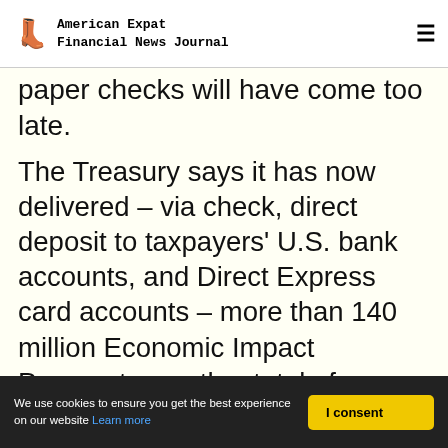American Expat Financial News Journal
paper checks will have come too late.
The Treasury says it has now delivered – via check, direct deposit to taxpayers' U.S. bank accounts, and Direct Express card accounts – more than 140 million Economic Impact Payments, worth a total of US$239bn.
The EIP pre-paid debit cards, meanwhile, will begin going out "to eligible recipients beginning this week".
We use cookies to ensure you get the best experience on our website Learn more | I consent